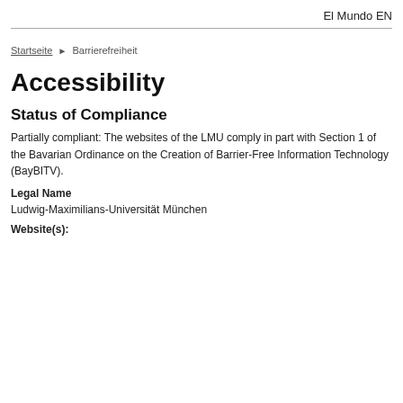El Mundo EN
Startseite ▶ Barrierefreiheit
Accessibility
Status of Compliance
Partially compliant: The websites of the LMU comply in part with Section 1 of the Bavarian Ordinance on the Creation of Barrier-Free Information Technology (BayBITV).
Legal Name
Ludwig-Maximilians-Universität München
Website(s):